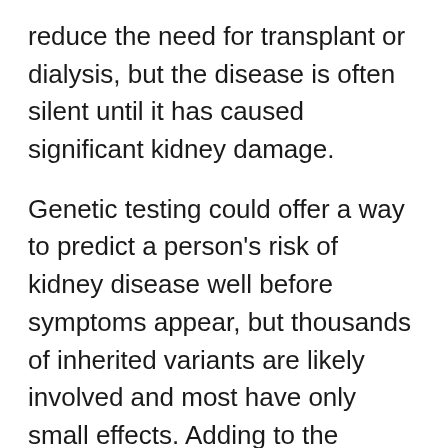reduce the need for transplant or dialysis, but the disease is often silent until it has caused significant kidney damage.
Genetic testing could offer a way to predict a person's risk of kidney disease well before symptoms appear, but thousands of inherited variants are likely involved and most have only small effects. Adding to the complexity, certain genetic variants are more common in some ethnicities than others.
"In most populations, we can't just look at one or two genetic variants and tell you what your risk is," said Kiryluk.